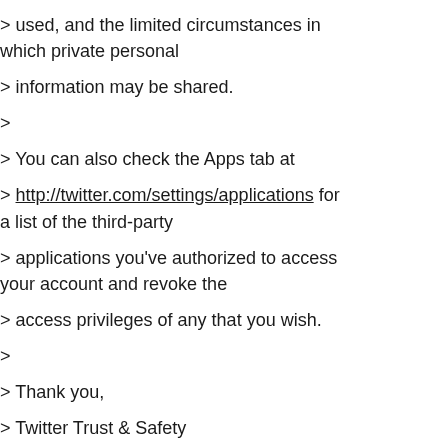> used, and the limited circumstances in which private personal
> information may be shared.
>
> You can also check the Apps tab at
> http://twitter.com/settings/applications for a list of the third-party
> applications you've authorized to access your account and revoke the
> access privileges of any that you wish.
>
> Thank you,
> Twitter Trust & Safety